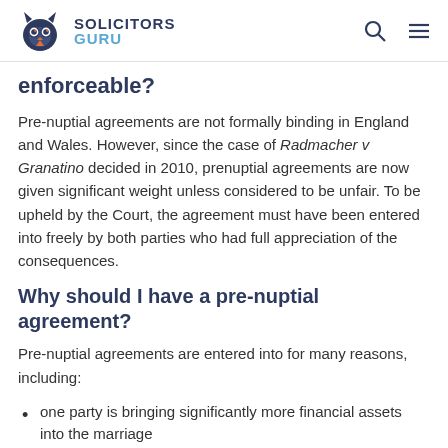SOLICITORS GURU
enforceable?
Pre-nuptial agreements are not formally binding in England and Wales.  However, since the case of Radmacher v Granatino decided in 2010, prenuptial agreements are now given significant weight unless considered to be unfair.  To be upheld by the Court, the agreement must have been entered into freely by both parties who had full appreciation of the consequences.
Why should I have a pre-nuptial agreement?
Pre-nuptial agreements are entered into for many reasons, including:
one party is bringing significantly more financial assets into the marriage
one or both of the parties have children from a previous